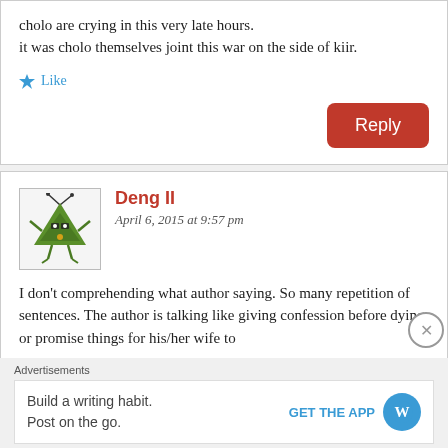cholo are crying in this very late hours. it was cholo themselves joint this war on the side of kiir.
Like
Reply
Deng II
April 6, 2015 at 9:57 pm
I don't comprehending what author saying. So many repetition of sentences. The author is talking like giving confession before dying or promise things for his/her wife to
Advertisements
Build a writing habit. Post on the go.
GET THE APP